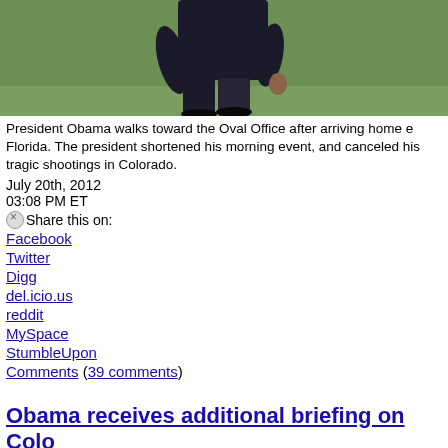[Figure (photo): Person in dark suit walking on grass, viewed from torso/legs area, approaching the Oval Office.]
President Obama walks toward the Oval Office after arriving home e Florida. The president shortened his morning event, and canceled his tragic shootings in Colorado.
July 20th, 2012
03:08 PM ET
Share this on:
Facebook
Twitter
Digg
del.icio.us
reddit
MySpace
StumbleUpon
Comments (39 comments)
Obama receives additional briefing on Colo
[Figure (photo): Small thumbnail photo of a person, partially visible at bottom of page.]